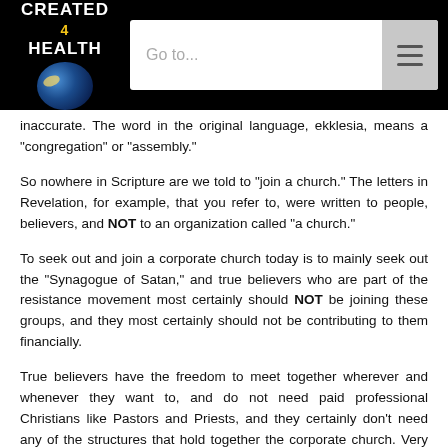CREATED 4 HEALTH | Go to...
inaccurate. The word in the original language, ekklesia, means a "congregation" or "assembly."
So nowhere in Scripture are we told to "join a church." The letters in Revelation, for example, that you refer to, were written to people, believers, and NOT to an organization called "a church."
To seek out and join a corporate church today is to mainly seek out the "Synagogue of Satan," and true believers who are part of the resistance movement most certainly should NOT be joining these groups, and they most certainly should not be contributing to them financially.
True believers have the freedom to meet together wherever and whenever they want to, and do not need paid professional Christians like Pastors and Priests, and they certainly don't need any of the structures that hold together the corporate church. Very few, if any, of these 501c3 corporations are "spreading the Gospel." They are spreading their own brand of American Christianity, which has led this nation to where we are today: on the brink of